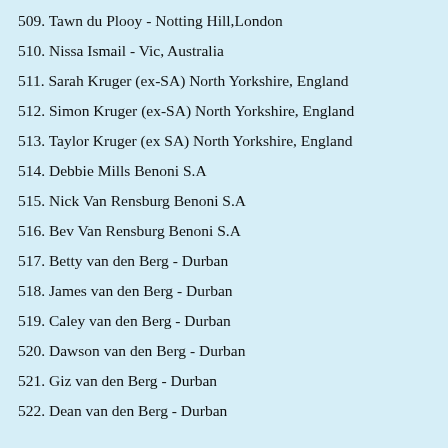509. Tawn du Plooy - Notting Hill,London
510. Nissa Ismail - Vic, Australia
511. Sarah Kruger (ex-SA) North Yorkshire, England
512. Simon Kruger (ex-SA) North Yorkshire, England
513. Taylor Kruger (ex SA) North Yorkshire, England
514. Debbie Mills Benoni S.A
515. Nick Van Rensburg Benoni S.A
516. Bev Van Rensburg Benoni S.A
517. Betty van den Berg - Durban
518. James van den Berg - Durban
519. Caley van den Berg - Durban
520. Dawson van den Berg - Durban
521. Giz van den Berg - Durban
522. Dean van den Berg - Durban